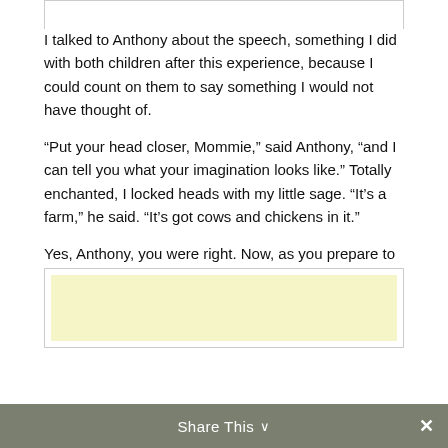I talked to Anthony about the speech, something I did with both children after this experience, because I could count on them to say something I would not have thought of.
“Put your head closer, Mommie,” said Anthony, “and I can tell you what your imagination looks like.” Totally enchanted, I locked heads with my little sage. “It’s a farm,” he said. “It’s got cows and chickens in it.”
Yes, Anthony, you were right. Now, as you prepare to become a father to your own little boy, and I prepare to write a childhood memoir, this is the landscape that has called me.
[Figure (other): Yellow advertisement box at bottom of content area]
Share This ⌄